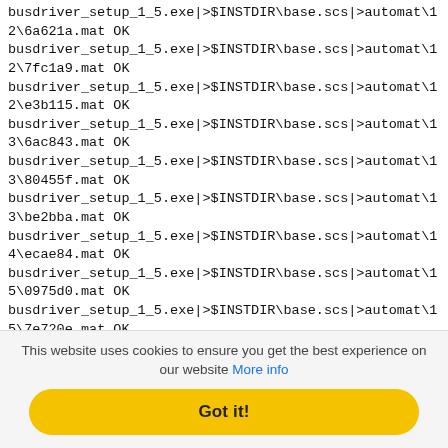busdriver_setup_1_5.exe|>$INSTDIR\base.scs|>automat\12\6a621a.mat OK
busdriver_setup_1_5.exe|>$INSTDIR\base.scs|>automat\12\7fc1a9.mat OK
busdriver_setup_1_5.exe|>$INSTDIR\base.scs|>automat\12\e3b115.mat OK
busdriver_setup_1_5.exe|>$INSTDIR\base.scs|>automat\13\6ac843.mat OK
busdriver_setup_1_5.exe|>$INSTDIR\base.scs|>automat\13\80455f.mat OK
busdriver_setup_1_5.exe|>$INSTDIR\base.scs|>automat\13\be2bba.mat OK
busdriver_setup_1_5.exe|>$INSTDIR\base.scs|>automat\14\ecae84.mat OK
busdriver_setup_1_5.exe|>$INSTDIR\base.scs|>automat\15\0975d0.mat OK
busdriver_setup_1_5.exe|>$INSTDIR\base.scs|>automat\15\7e720e.mat OK
busdriver_setup_1_5.exe|>$INSTDIR\base.scs|>automat\15\9989d8.mat OK
busdriver_setup_1_5.exe|>$INSTDIR\base.scs|>automat\16\45de69.mat OK
This website uses cookies to ensure you get the best experience on our website More info
Got it!